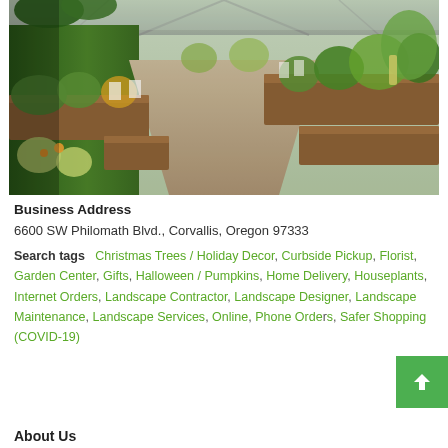[Figure (photo): Interior of a garden center / greenhouse showing rows of plants, flowers, wooden planter boxes, and a central walkway under a greenhouse roof structure.]
Business Address
6600 SW Philomath Blvd., Corvallis, Oregon 97333
Search tags   Christmas Trees / Holiday Decor, Curbside Pickup, Florist, Garden Center, Gifts, Halloween / Pumpkins, Home Delivery, Houseplants, Internet Orders, Landscape Contractor, Landscape Designer, Landscape Maintenance, Landscape Services, Online, Phone Orders, Safer Shopping (COVID-19)
About Us